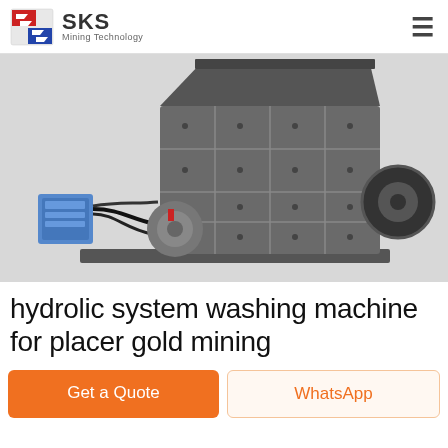SKS Mining Technology
[Figure (photo): Industrial hydraulic system washing machine for placer gold mining — large grey metal box crusher/washer unit with hydraulic pump unit attached on the left side and a black flywheel/pulley on the right, mounted on a flat base plate, photographed on white background.]
hydrolic system washing machine for placer gold mining
Get a Quote
WhatsApp